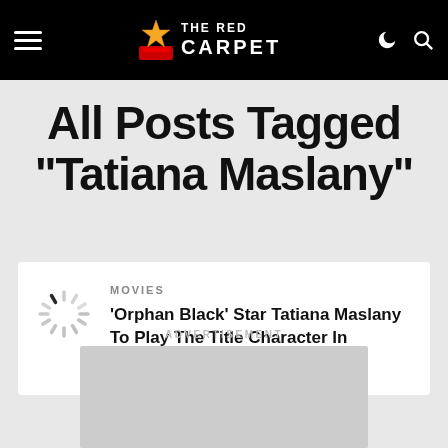THE RED CARPET
All Posts Tagged "Tatiana Maslany"
MOVIES
'Orphan Black' Star Tatiana Maslany To Play The Title Character In Marvel's 'She-Hulk' Series
ADVERTISEMENT